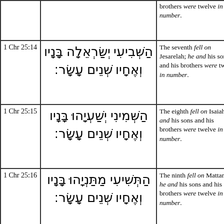| Reference | Hebrew Text | English Translation |  |
| --- | --- | --- | --- |
|  |  | brothers were twelve in number. |  |
| 1 Chr 25:14 | הַשְּׁבִיעִי יְשַׂרְאֵלָה בָּנָיו וְאֶחָיו שְׁנֵים עָשָׂר: | The seventh fell on Jesarelah; he and his sons and his brothers were twelve in number. | J |
| 1 Chr 25:15 | הַשְּׁמִינִי יְשַׁעְיָהוּ בָּנָיו וְאֶחָיו שְׁנֵים עָשָׂר: | The eighth fell on Isaiah; he and his sons and his brothers were twelve in number. | I J |
| 1 Chr 25:16 | הַתְּשִׁיעִי מַתַּנְיָהוּ בָּנָיו וְאֶחָיו שְׁנֵים עָשָׂר: | The ninth fell on Mattaniah; he and his sons and his brothers were twelve in number. |  |